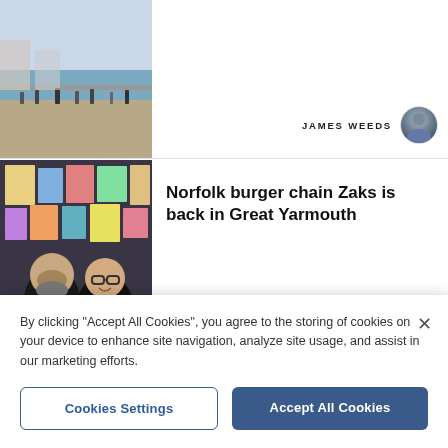[Figure (photo): Partial article card showing a beach/promenade scene with people walking, thumbnail image cut off at top]
JAMES WEEDS
[Figure (photo): Two men smiling at a restaurant/diner with vintage posters on the wall behind them, checkered tablecloth]
Norfolk burger chain Zaks is back in Great Yarmouth
STACIA BRIGGS
[Figure (photo): Dark website navigation/footer area partially visible]
By clicking "Accept All Cookies", you agree to the storing of cookies on your device to enhance site navigation, analyze site usage, and assist in our marketing efforts.
Cookies Settings
Accept All Cookies